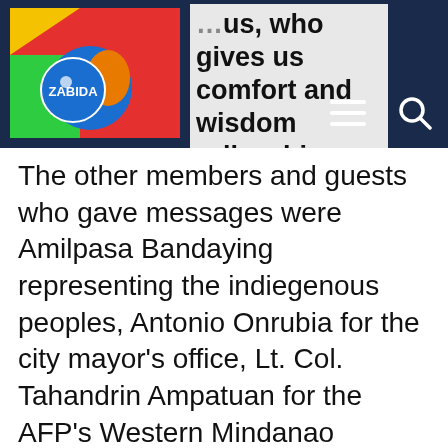…us, who gives us comfort and wisdom …llow his ways, he said.
The other members and guests who gave messages were Amilpasa Bandaying representing the indiegenous peoples, Antonio Onrubia for the city mayor's office, Lt. Col. Tahandrin Ampatuan for the AFP's Western Mindanao Command, Juanita Cagubatan for the urban poor aggrupation, Josephine Bello of Sinunuc barrio on behalf of the barangays, PWD Teddy Kahil for the Department of Social Welfare and Development regional office, Soraya Sali for the IDPs, and Abdul-Jafar Ghaffair Lintas for the homeless children